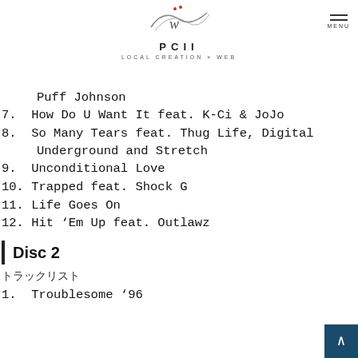PCII LOCAL CREATION x WEB
Puff Johnson
7. How Do U Want It feat. K-Ci & JoJo
8. So Many Tears feat. Thug Life, Digital Underground and Stretch
9. Unconditional Love
10. Trapped feat. Shock G
11. Life Goes On
12. Hit ‘Em Up feat. Outlawz
Disc 2
トラックリスト
1. Troublesome ’96